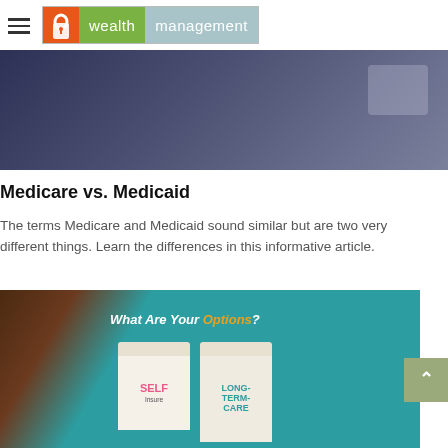[Figure (logo): Wealth Management logo with hamburger menu icon, orange keyhole icon, green 'wealth' text, and blue-gray 'management' text]
[Figure (photo): Dark blue/purple background image, partially visible, appears to be a door or lock closeup]
Medicare vs. Medicaid
The terms Medicare and Medicaid sound similar but are two very different things. Learn the differences in this informative article.
[Figure (photo): Tablet screen showing 'What Are Your Options?' with two pill bottles labeled SELF Insure and LONG-TERM-CARE on a teal background]